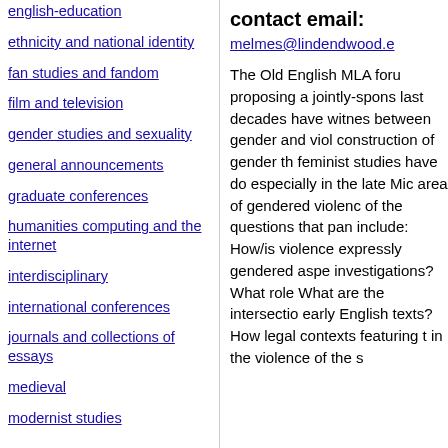english-education
ethnicity and national identity
fan studies and fandom
film and television
gender studies and sexuality
general announcements
graduate conferences
humanities computing and the internet
interdisciplinary
international conferences
journals and collections of essays
medieval
modernist studies
contact email:
melmes@lindendwood.e
The Old English MLA foru proposing a jointly-spons last decades have witnes between gender and viol construction of gender th feminist studies have do especially in the late Mic area of gendered violenc of the questions that pan include: How/is violence expressly gendered aspe investigations? What role What are the intersectio early English texts? How legal contexts featuring t in the violence of the s